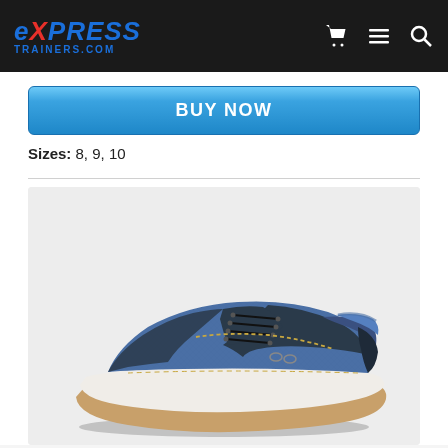Express Trainers.com
BUY NOW
Sizes: 8, 9, 10
[Figure (photo): Blue canvas lace-up trainer/boat shoe with dark navy overlays, gold stitching detail, white midsole and tan rubber outsole, photographed on a light grey background from the side.]